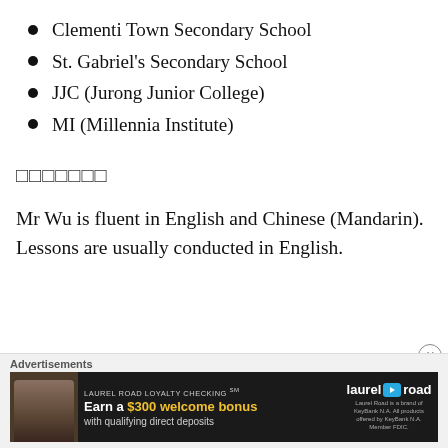Clementi Town Secondary School
St. Gabriel's Secondary School
JJC (Jurong Junior College)
MI (Millennia Institute)
□□□□□□□
Mr Wu is fluent in English and Chinese (Mandarin). Lessons are usually conducted in English.
[Figure (other): Advertisement banner for Laurel Road Loyalty Checking account offering $300 welcome bonus with qualifying direct deposits]